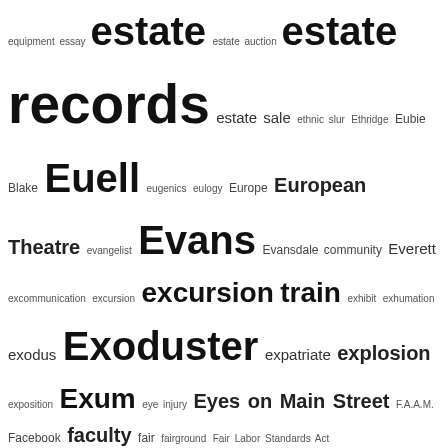equipment essay estate estate auction estate records estate sale ethnic slur Ethridge Eubie Blake Euell eugenics eulogy Europe European Theatre evangelist Evans Evansdale community Everett excommunication excursion excursion train exhibit exhumation exodus Exoduster expatriate explosion exposition Exum eye injury Eyes on Main Street F.A.A.M. Facebook faculty fair fairground Fair Labor Standards Act Faison Faison Street Faithful false arrest false report Family family cemetery family history Family Pictures USA family plot family portrait family reunion family visit farm farm agent farm economy Farmer farm hand farming farm labor farm laborer farm land farm life Farm Security Administration Farrior Fate father Father's Day father and son Faucett Faulk Faulkland Faulkner Fayetteville State Teachers College Fayetteville State University federal court Federal Writers Project Federated Club Federation of Colored Women's Clubs Felman Ferguson Field fieldhand Fields fight fight card fighting filling station financial statement Finch Finch's Mill Road Finch Street fine fire fire